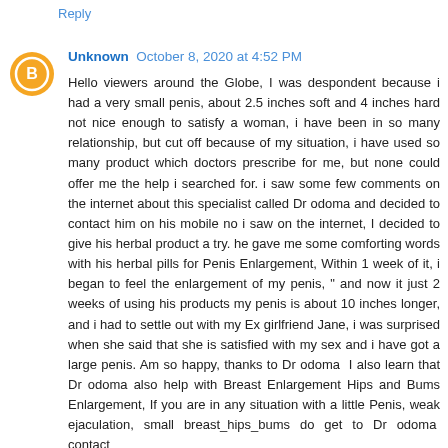Reply
Unknown  October 8, 2020 at 4:52 PM
Hello viewers around the Globe, I was despondent because i had a very small penis, about 2.5 inches soft and 4 inches hard not nice enough to satisfy a woman, i have been in so many relationship, but cut off because of my situation, i have used so many product which doctors prescribe for me, but none could offer me the help i searched for. i saw some few comments on the internet about this specialist called Dr odoma and decided to contact him on his mobile no i saw on the internet, I decided to give his herbal product a try. he gave me some comforting words with his herbal pills for Penis Enlargement, Within 1 week of it, i began to feel the enlargement of my penis, " and now it just 2 weeks of using his products my penis is about 10 inches longer, and i had to settle out with my Ex girlfriend Jane, i was surprised when she said that she is satisfied with my sex and i have got a large penis. Am so happy, thanks to Dr odoma  I also learn that Dr odoma also help with Breast Enlargement Hips and Bums Enlargement, If you are in any situation with a little Penis, weak ejaculation, small breast_hips_bums do get to Dr odoma  contact